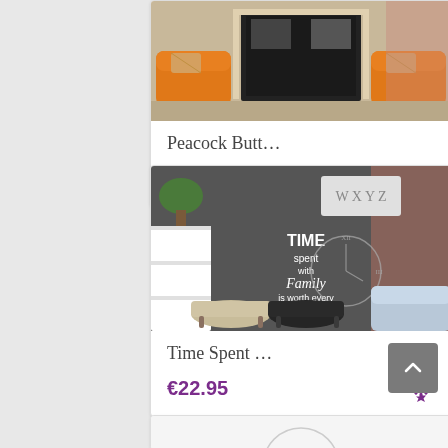[Figure (photo): Product listing card showing orange armchairs in a living room with a fireplace — product titled 'Peacock Butt...' priced at €18.95 with a shopping cart icon]
Peacock Butt…
€18.95
[Figure (photo): Product listing card showing a dark grey wall with a vinyl decal reading 'TIME spent with Family is worth every Second' with a clock graphic, furniture in foreground — product titled 'Time Spent ...' priced at €22.95 with a gear/settings icon]
Time Spent …
€22.95
[Figure (photo): Partial product listing card at bottom of page, showing a white image with a partial circular graphic/logo]